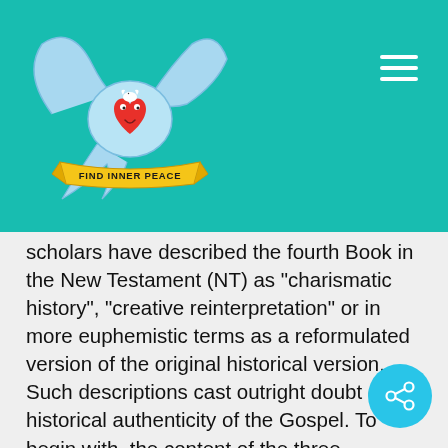[Figure (logo): Find Inner Peace logo: a blue swallow bird holding a red heart character with a small white dove, over a yellow banner reading FIND INNER PEACE]
scholars have described the fourth Book in the New Testament (NT) as “charismatic history”, “creative reinterpretation” or in more euphemistic terms as a reformulated version of the original historical version. Such descriptions cast outright doubt on the historical authenticity of the Gospel. To begin with, the content of the three preceding Books in the NT is very